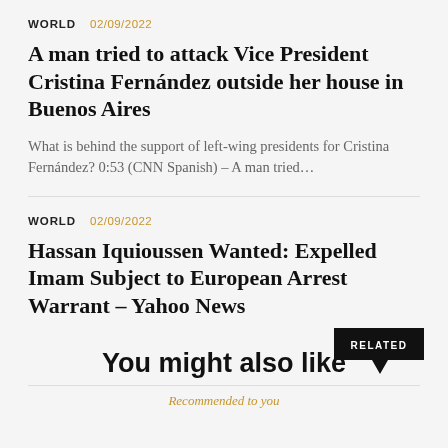WORLD  02/09/2022
A man tried to attack Vice President Cristina Fernández outside her house in Buenos Aires
What is behind the support of left-wing presidents for Cristina Fernández? 0:53 (CNN Spanish) – A man tried…
WORLD  02/09/2022
Hassan Iquioussen Wanted: Expelled Imam Subject to European Arrest Warrant – Yahoo News
He has not been found since the validation of the warrant for his expulsion from French territory to Morocco....
You might also like
Recommended to you